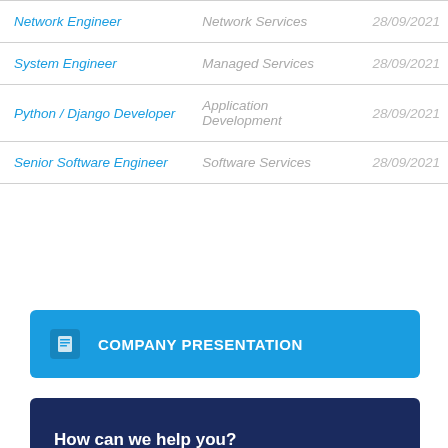| Position | Department | Date |
| --- | --- | --- |
| Network Engineer | Network Services | 28/09/2021 |
| System Engineer | Managed Services | 28/09/2021 |
| Python / Django Developer | Application Development | 28/09/2021 |
| Senior Software Engineer | Software Services | 28/09/2021 |
COMPANY PRESENTATION
How can we help you?